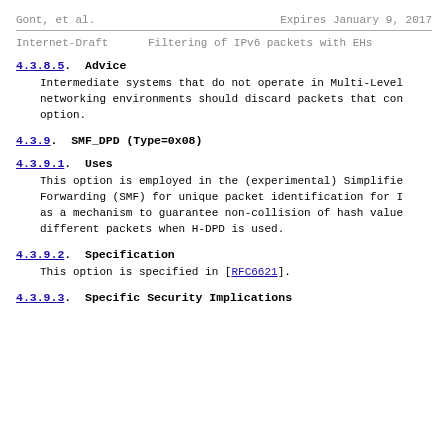Gont, et al.          Expires January 9, 2017
Internet-Draft      Filtering of IPv6 packets with EHs
4.3.8.5.  Advice
Intermediate systems that do not operate in Multi-Level networking environments should discard packets that con option.
4.3.9.  SMF_DPD (Type=0x08)
4.3.9.1.  Uses
This option is employed in the (experimental) Simplified Forwarding (SMF) for unique packet identification for I as a mechanism to guarantee non-collision of hash value different packets when H-DPD is used.
4.3.9.2.  Specification
This option is specified in [RFC6621].
4.3.9.3.  Specific Security Implications